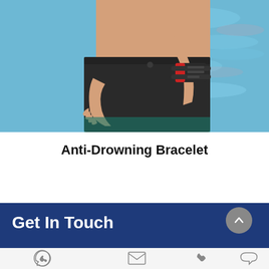[Figure (photo): Person wearing an anti-drowning bracelet (black and red device) on their wrist, standing near a blue swimming pool, wearing black swim shorts.]
Anti-Drowning Bracelet
Get In Touch
[Figure (infographic): Footer icon bar with four icons: WhatsApp/phone circle, envelope/email, phone handset, and speech bubble chat icon.]